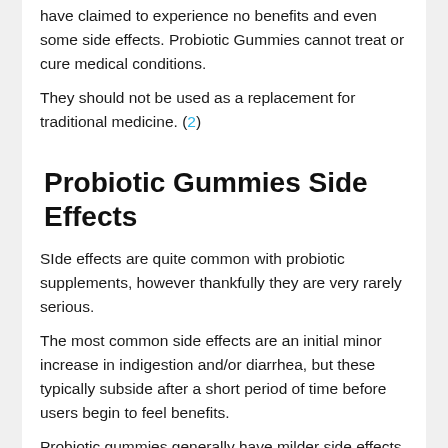have claimed to experience no benefits and even some side effects. Probiotic Gummies cannot treat or cure medical conditions.
They should not be used as a replacement for traditional medicine. (2)
Probiotic Gummies Side Effects
Side effects are quite common with probiotic supplements, however thankfully they are very rarely serious.
The most common side effects are an initial minor increase in indigestion and/or diarrhea, but these typically subside after a short period of time before users begin to feel benefits.
Probiotic gummies generally have milder side effects than capsules or powders, as the CFU count tends not to be as